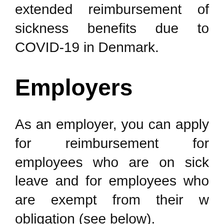extended reimbursement of sickness benefits due to COVID-19 in Denmark.
Employers
As an employer, you can apply for reimbursement for employees who are on sick leave and for employees who are exempt from their work obligation (see below).